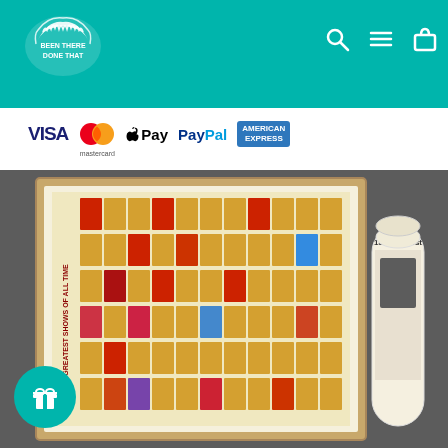Been There Done That - logo and navigation with search, menu, cart icons
[Figure (logo): Been There Done That logo - white text on teal background with decorative emblem]
[Figure (infographic): Payment method logos: VISA, Mastercard, Apple Pay, PayPal, American Express]
[Figure (photo): Framed poster showing Greatest Shows Of All Time scratch-off grid with colorful theatre show tiles, displayed with a cylindrical tube packaging on the right side]